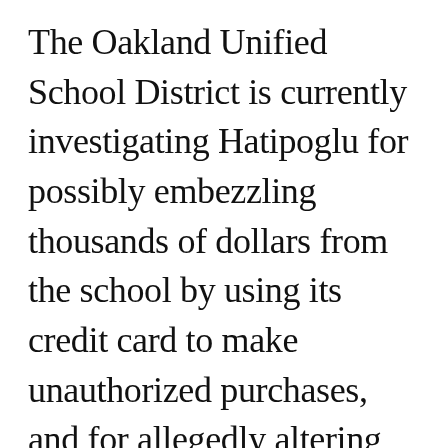The Oakland Unified School District is currently investigating Hatipoglu for possibly embezzling thousands of dollars from the school by using its credit card to make unauthorized purchases, and for allegedly altering his employment contract without the board's knowledge. Hatipoglu's employment contract provided him